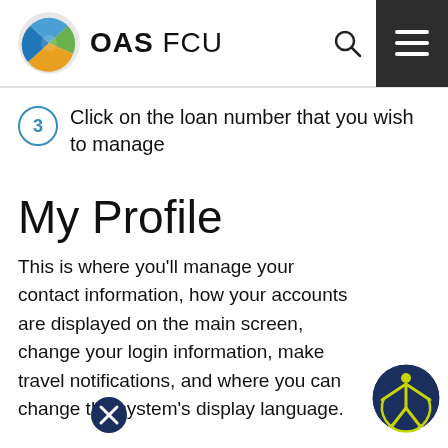OAS FCU
3 Click on the loan number that you wish to manage
My Profile
This is where you'll manage your contact information, how your accounts are displayed on the main screen, change your login information, make travel notifications, and where you can change the system's display language.